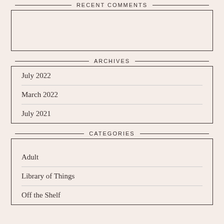RECENT COMMENTS
ARCHIVES
July 2022
March 2022
July 2021
CATEGORIES
Adult
Library of Things
Off the Shelf